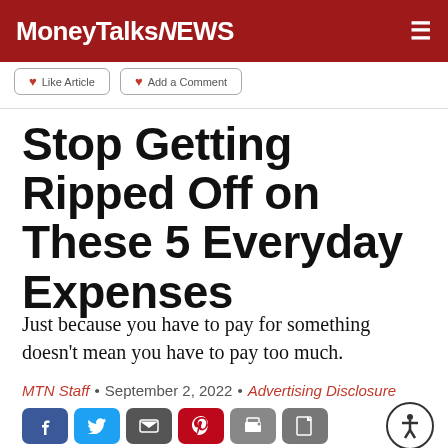MoneyTalksNews
Stop Getting Ripped Off on These 5 Everyday Expenses
Just because you have to pay for something doesn't mean you have to pay too much.
MTN Staff • September 2, 2022 • Advertising Disclosure